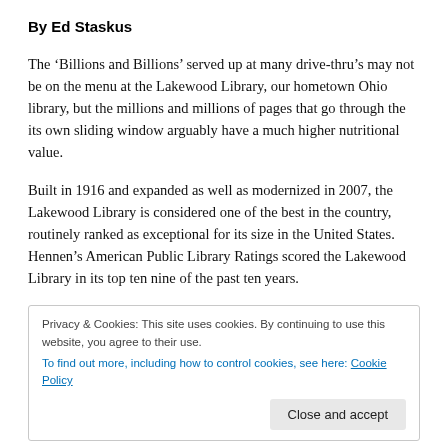By Ed Staskus
The ‘Billions and Billions’ served up at many drive-thru’s may not be on the menu at the Lakewood Library, our hometown Ohio library, but the millions and millions of pages that go through the its own sliding window arguably have a much higher nutritional value.
Built in 1916 and expanded as well as modernized in 2007, the Lakewood Library is considered one of the best in the country, routinely ranked as exceptional for its size in the United States. Hennen’s American Public Library Ratings scored the Lakewood Library in its top ten nine of the past ten years.
Privacy & Cookies: This site uses cookies. By continuing to use this website, you agree to their use.
To find out more, including how to control cookies, see here: Cookie Policy
Close and accept
The library houses more than a half-million volumes and